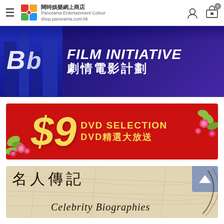闊時娛樂網上商店 Panorama Entertainment Colour shop.panorama.com.hk
[Figure (illustration): Film Initiative 劇情電影計劃 banner - dark purple/blue background with white bold text]
[Figure (illustration): $9 DVD Selection DVD精選大放送 - red banner with yellow text and floral decorations]
[Figure (illustration): 名人傳記 Celebrity Biographies - parchment-toned banner with calligraphic Chinese and italic English text, scroll-up button]